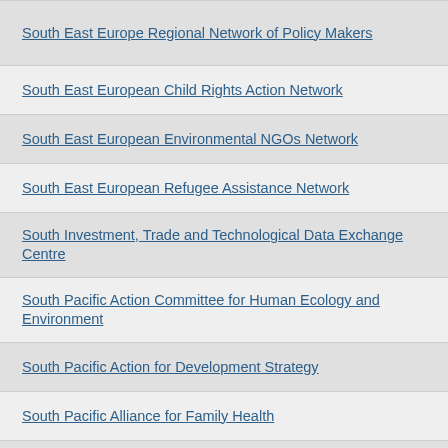South East Europe Regional Network of Policy Makers
South East European Child Rights Action Network
South East European Environmental NGOs Network
South East European Refugee Assistance Network
South Investment, Trade and Technological Data Exchange Centre
South Pacific Action Committee for Human Ecology and Environment
South Pacific Action for Development Strategy
South Pacific Alliance for Family Health
South Pacific Appropriate Technology Foundation